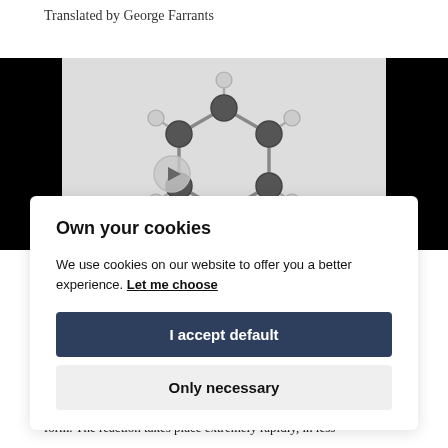Translated by George Farrants
[Figure (photo): 3D molecular model of a benzene ring with black and silver ball-and-stick representation, shown with a video play button overlay. Black bars flank the left and right sides of the video frame.]
Own your cookies
We use cookies on our website to offer you a better experience. Let me choose
I accept default
Only necessary
form. The reaction takes place extremely rapidly, in less